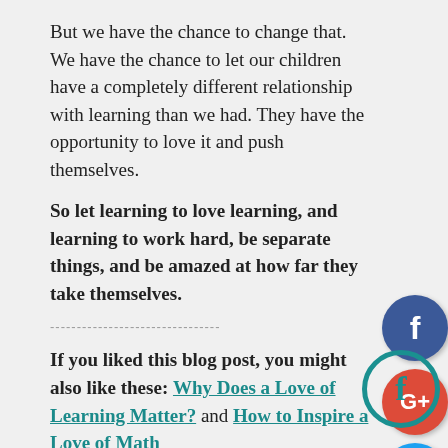But we have the chance to change that. We have the chance to let our children have a completely different relationship with learning than we had. They have the opportunity to love it and push themselves.
So let learning to love learning, and learning to work hard, be separate things, and be amazed at how far they take themselves.
-------------------------------
If you liked this blog post, you might also like these: Why Does a Love of Learning Matter? and How to Inspire a Love of Math
-------------------------------
Did you love learning as a kid? Why or why